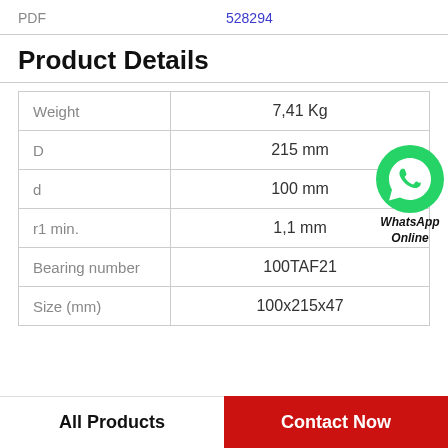PDF  528294
Product Details
|  |  |
| --- | --- |
| Weight | 7,41 Kg |
| D | 215 mm |
| d | 100 mm |
| r1 min. | 1,1 mm |
| Bearing number | 100TAF21 |
| Size (mm) | 100x215x47 |
[Figure (logo): WhatsApp Online green bubble icon with bold italic text 'WhatsApp Online']
All Products
Contact Now